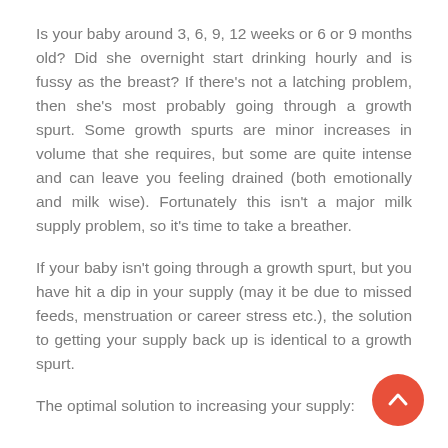Is your baby around 3, 6, 9, 12 weeks or 6 or 9 months old? Did she overnight start drinking hourly and is fussy as the breast? If there's not a latching problem, then she's most probably going through a growth spurt. Some growth spurts are minor increases in volume that she requires, but some are quite intense and can leave you feeling drained (both emotionally and milk wise). Fortunately this isn't a major milk supply problem, so it's time to take a breather.
If your baby isn't going through a growth spurt, but you have hit a dip in your supply (may it be due to missed feeds, menstruation or career stress etc.), the solution to getting your supply back up is identical to a growth spurt.
The optimal solution to increasing your supply:
[Figure (other): A circular red back-to-top button with a white upward chevron arrow icon, positioned in the bottom-right corner of the page.]